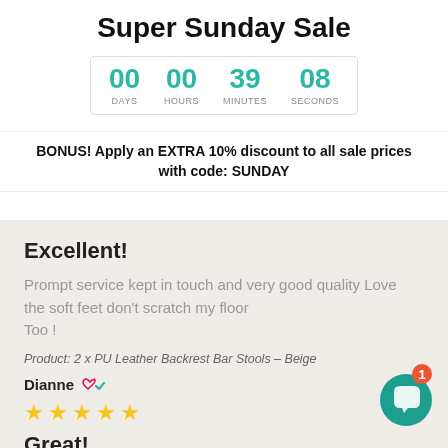Super Sunday Sale
00 DAYS  00 HOURS  39 MINUTES  08 SECONDS
BONUS! Apply an EXTRA 10% discount to all sale prices with code: SUNDAY
Excellent!
Prompt service kept in touch and very good quality Love the soft feet don't scratch my floor Too !
Product: 2 x PU Leather Backrest Bar Stools – Beige
Dianne ♡✓
SAN REMO, VICTORIA, AUSTRALIA
★ ★ ★ ★ ★
Great!
So comfortable